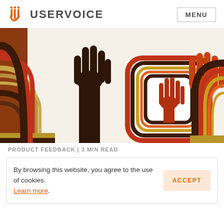[Figure (logo): UserVoice logo with orange hand/fork icon and USERVOICE text, plus MENU button on the right]
[Figure (illustration): Colorful retro illustration of raised hands with abstract curved line patterns in dark brown, red, orange, and gold colors]
PRODUCT FEEDBACK | 3 MIN READ
By browsing this website, you agree to the use of cookies. Learn more.